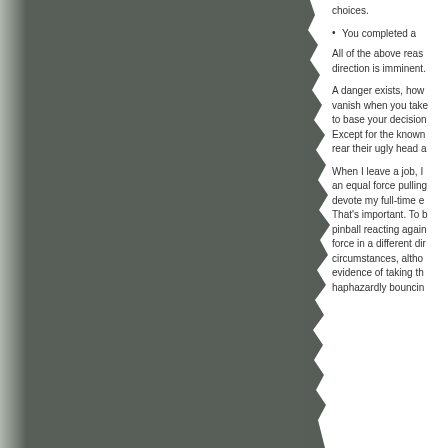[Figure (photo): Dark gray torn/ragged paper or background texture on the left side of the page]
choices.
You completed a
All of the above reas direction is imminent.
A danger exists, how vanish when you take to base your decision Except for the known rear their ugly head a
When I leave a job, I an equal force pulling devote my full-time e That's important. To b pinball reacting again force in a different dir circumstances, altho evidence of taking th haphazardly bouncin